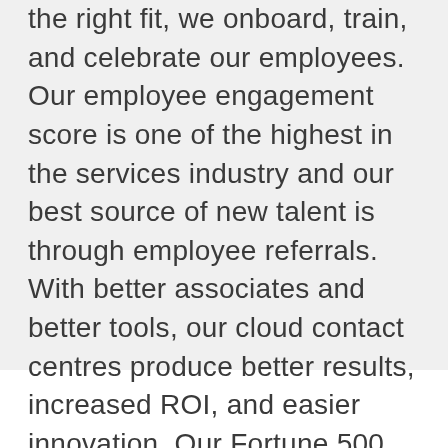the right fit, we onboard, train, and celebrate our employees. Our employee engagement score is one of the highest in the services industry and our best source of new talent is through employee referrals. With better associates and better tools, our cloud contact centres produce better results, increased ROI, and easier innovation. Our Fortune 500 clients get best-in-class operations with engaged and empowered employees to help power their digital transformation to our cloud contact centre solutions.